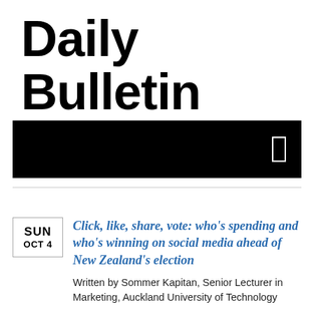Daily Bulletin
[Figure (other): Black banner/header bar with a small white rectangle outline on the right side]
SUN OCT 4
Click, like, share, vote: who's spending and who's winning on social media ahead of New Zealand's election
Written by Sommer Kapitan, Senior Lecturer in Marketing, Auckland University of Technology